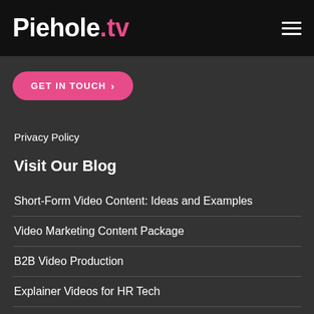Piehole.tv
GET IN TOUCH >
Privacy Policy
Visit Our Blog
Short-Form Video Content: Ideas and Examples
Video Marketing Content Package
B2B Video Production
Explainer Videos for HR Tech